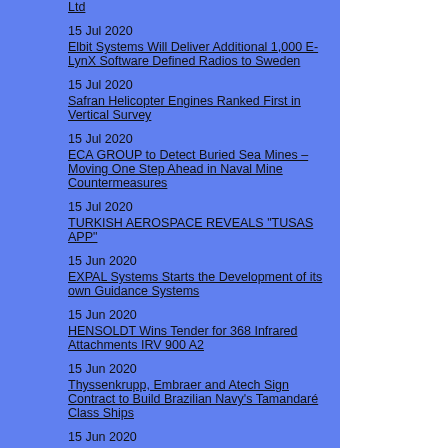Ltd
15 Jul 2020
Elbit Systems Will Deliver Additional 1,000 E-LynX Software Defined Radios to Sweden
15 Jul 2020
Safran Helicopter Engines Ranked First in Vertical Survey
15 Jul 2020
ECA GROUP to Detect Buried Sea Mines – Moving One Step Ahead in Naval Mine Countermeasures
15 Jul 2020
TURKISH AEROSPACE REVEALS "TUSAS APP"
15 Jun 2020
EXPAL Systems Starts the Development of its own Guidance Systems
15 Jun 2020
HENSOLDT Wins Tender for 368 Infrared Attachments IRV 900 A2
15 Jun 2020
Thyssenkrupp, Embraer and Atech Sign Contract to Build Brazilian Navy's Tamandaré Class Ships
15 Jun 2020
Boeing Delivers the First Serial Produced Mi 28...